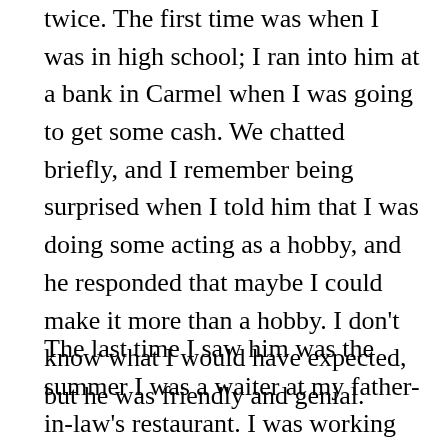twice. The first time was when I was in high school; I ran into him at a bank in Carmel when I was going to get some cash. We chatted briefly, and I remember being surprised when I told him that I was doing some acting as a hobby, and he responded that maybe I could make it more than a hobby. I don't know what I would have expected, but he was friendly and genial.
The last time I saw him was the summer I was a waiter at my father-in-law's restaurant. I was working the lawn on a weekend lunch shift, and he and his stepmother were taking a little walk down by the river. Again, he was friendly and interested in what was going on with me, and I think a little impressed that I was dating the daughter of the River